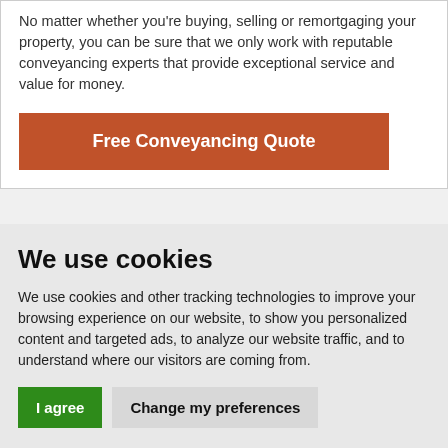No matter whether you're buying, selling or remortgaging your property, you can be sure that we only work with reputable conveyancing experts that provide exceptional service and value for money.
[Figure (other): Orange/red button labeled 'Free Conveyancing Quote']
We use cookies
We use cookies and other tracking technologies to improve your browsing experience on our website, to show you personalized content and targeted ads, to analyze our website traffic, and to understand where our visitors are coming from.
[Figure (other): Two buttons: green 'I agree' button and grey 'Change my preferences' button]